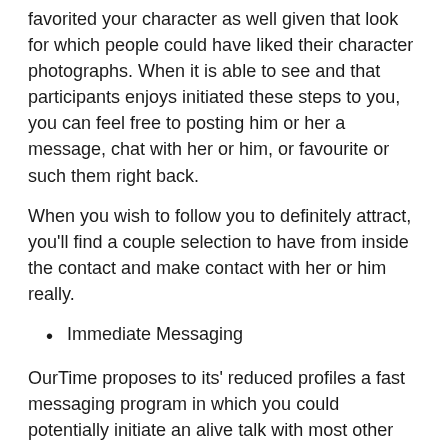favorited your character as well given that look for which people could have liked their character photographs. When it is able to see and that participants enjoys initiated these steps to you, you can feel free to posting him or her a message, chat with her or him, or favourite or such them right back.
When you wish to follow you to definitely attract, you'll find a couple selection to have from inside the contact and make contact with her or him really.
Immediate Messaging
OurTime proposes to its' reduced profiles a fast messaging program in which you could potentially initiate an alive talk with most other profiles who you need understand better toward a single-to-that foundation. If you don't have a lot of time therefore need to instantaneously connect, the fresh new live cam option is the right choice online.